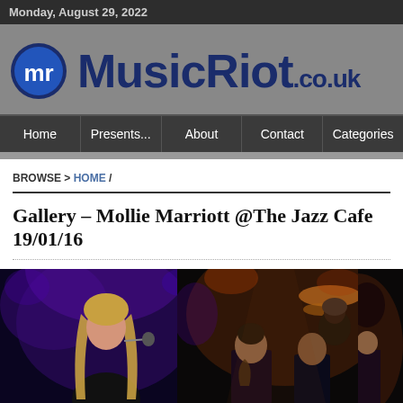Monday, August 29, 2022
[Figure (logo): MusicRiot.co.uk logo with blue circular MR icon and bold dark blue text]
Home | Presents... | About | Contact | Categories
BROWSE > HOME /
Gallery – Mollie Marriott @The Jazz Cafe 19/01/16
[Figure (photo): Female singer with long blonde hair performing on stage with microphone, lit in purple/blue light]
[Figure (photo): Band performing on stage, drummer visible in background, two performers in foreground with instruments, lit in warm stage lighting]
[Figure (photo): Partially visible third photo of concert]